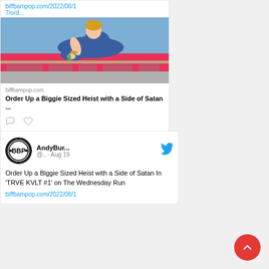biffbampop.com/2022/08/17/ord...
[Figure (illustration): Anime-style illustration of a character in a blue outfit reclining on a counter, with a pink and grey background]
biffbampop.com
Order Up a Biggie Sized Heist with a Side of Satan ...
[Figure (other): Comment and heart (like) action icons]
[Figure (logo): BBP (Biff Bam Pop) circular logo with black and white design]
AndyBur... @.. · Aug 19
[Figure (logo): Twitter bird icon in blue]
Order Up a Biggie Sized Heist with a Side of Satan In 'TRVE KVLT #1' on The Wednesday Run
biffbampop.com/2022/08/1